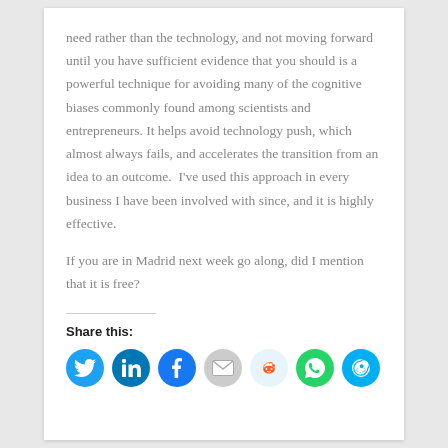need rather than the technology, and not moving forward until you have sufficient evidence that you should is a powerful technique for avoiding many of the cognitive biases commonly found among scientists and entrepreneurs. It helps avoid technology push, which almost always fails, and accelerates the transition from an idea to an outcome.  I've used this approach in every business I have been involved with since, and it is highly effective.
If you are in Madrid next week go along, did I mention that it is free?
Share this:
[Figure (infographic): Row of social media share icons: Twitter (blue), LinkedIn (dark blue), Facebook (blue), Email (gray), Reddit (light blue), WhatsApp (green), Skype (cyan)]